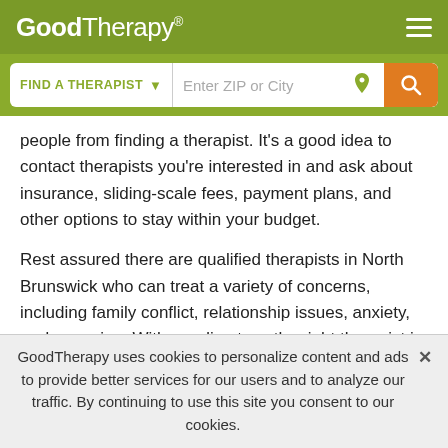GoodTherapy®
[Figure (screenshot): Search bar with 'FIND A THERAPIST' dropdown and 'Enter ZIP or City' input with location and search icons]
people from finding a therapist. It's a good idea to contact therapists you're interested in and ask about insurance, sliding-scale fees, payment plans, and other options to stay within your budget.
Rest assured there are qualified therapists in North Brunswick who can treat a variety of concerns, including family conflict, relationship issues, anxiety, or depression. With our directory, the right therapist is easy to find.
LIST YOUR PRACTICE ON GOODTHERAPY
GoodTherapy uses cookies to personalize content and ads to provide better services for our users and to analyze our traffic. By continuing to use this site you consent to our cookies.